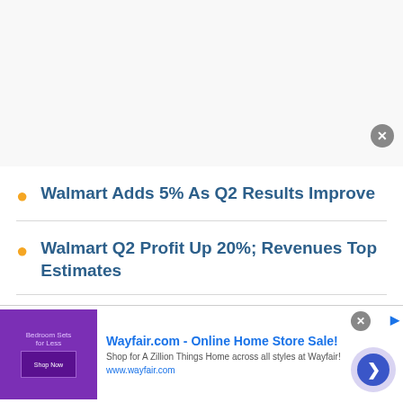Walmart Adds 5% As Q2 Results Improve
Walmart Q2 Profit Up 20%; Revenues Top Estimates
Walmart Inc. Profit Advances In Q2
[Figure (other): Advertisement banner for Wayfair.com - Online Home Store Sale with image of bedroom furniture, text 'Shop for A Zillion Things Home across all styles at Wayfair!' and URL www.wayfair.com]